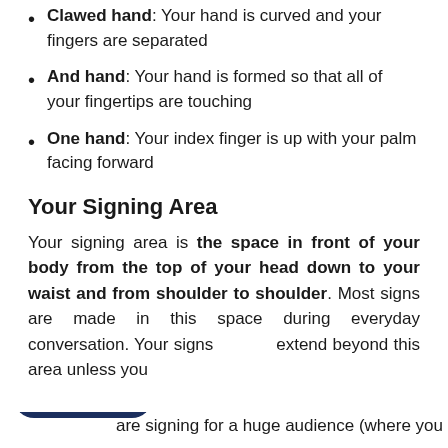Clawed hand: Your hand is curved and your fingers are separated
And hand: Your hand is formed so that all of your fingertips are touching
One hand: Your index finger is up with your palm facing forward
Your Signing Area
Your signing area is the space in front of your body from the top of your head down to your waist and from shoulder to shoulder. Most signs are made in this space during everyday conversation. Your signs extend beyond this area unless you are signing for a huge audience (where you